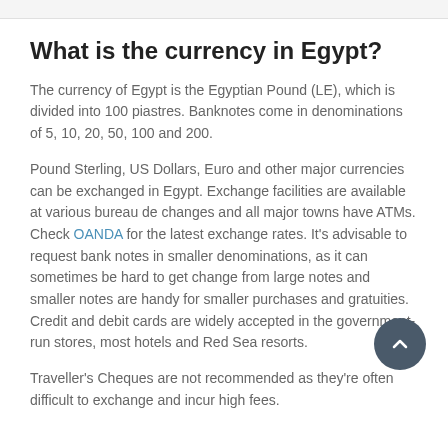What is the currency in Egypt?
The currency of Egypt is the Egyptian Pound (LE), which is divided into 100 piastres. Banknotes come in denominations of 5, 10, 20, 50, 100 and 200.
Pound Sterling, US Dollars, Euro and other major currencies can be exchanged in Egypt. Exchange facilities are available at various bureau de changes and all major towns have ATMs. Check OANDA for the latest exchange rates. It's advisable to request bank notes in smaller denominations, as it can sometimes be hard to get change from large notes and smaller notes are handy for smaller purchases and gratuities. Credit and debit cards are widely accepted in the government-run stores, most hotels and Red Sea resorts.
Traveller's Cheques are not recommended as they're often difficult to exchange and incur high fees.